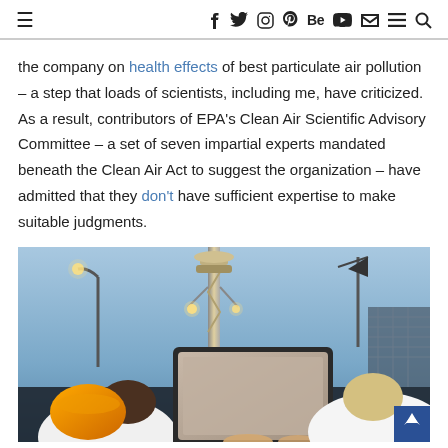≡   f  twitter  instagram  pinterest  Be  youtube  mail  ≡  search
the company on health effects of best particulate air pollution – a step that loads of scientists, including me, have criticized. As a result, contributors of EPA's Clean Air Scientific Advisory Committee – a set of seven impartial experts mandated beneath the Clean Air Act to suggest the organization – have admitted that they don't have sufficient expertise to make suitable judgments.
[Figure (photo): Two people viewed from above looking at a laptop, one wearing an orange hard hat, standing near an industrial tower structure. Background shows blue sky, lights, and industrial equipment.]